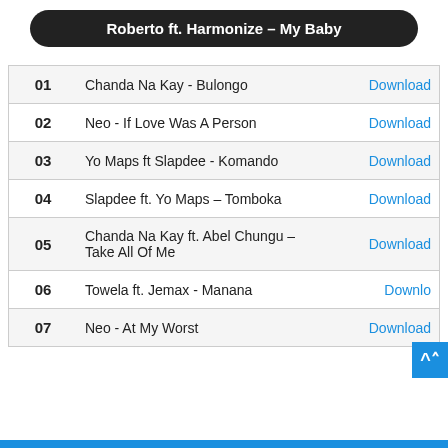Roberto ft. Harmonize – My Baby
| # | Song | Action |
| --- | --- | --- |
| 01 | Chanda Na Kay - Bulongo | Download |
| 02 | Neo - If Love Was A Person | Download |
| 03 | Yo Maps ft Slapdee - Komando | Download |
| 04 | Slapdee ft. Yo Maps – Tomboka | Download |
| 05 | Chanda Na Kay ft. Abel Chungu – Take All Of Me | Download |
| 06 | Towela ft. Jemax - Manana | Download |
| 07 | Neo - At My Worst | Download |